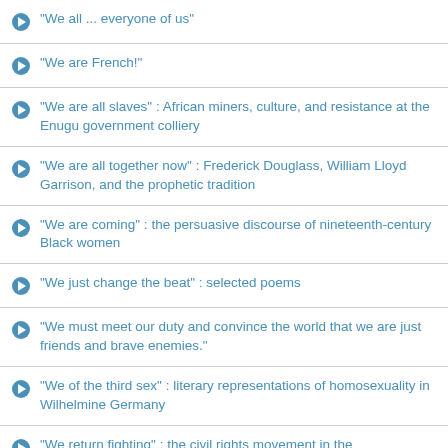"We all ... everyone of us"
"We are French!"
"We are all slaves" : African miners, culture, and resistance at the Enugu government colliery
"We are all together now" : Frederick Douglass, William Lloyd Garrison, and the prophetic tradition
"We are coming" : the persuasive discourse of nineteenth-century Black women
"We just change the beat" : selected poems
"We must meet our duty and convince the world that we are just friends and brave enemies."
"We of the third sex" : literary representations of homosexuality in Wilhelmine Germany
"We return fighting" : the civil rights movement in the